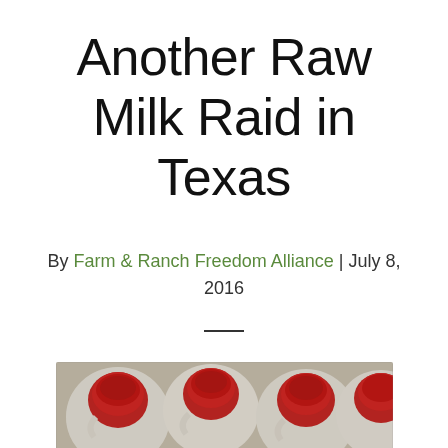Another Raw Milk Raid in Texas
By Farm & Ranch Freedom Alliance | July 8, 2016
[Figure (photo): Overhead view of multiple white plastic milk jugs with red caps packed closely together]